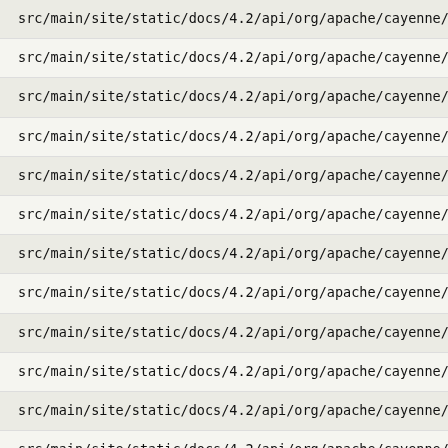src/main/site/static/docs/4.2/api/org/apache/cayenne/reflect
src/main/site/static/docs/4.2/api/org/apache/cayenne/reflect
src/main/site/static/docs/4.2/api/org/apache/cayenne/reflect
src/main/site/static/docs/4.2/api/org/apache/cayenne/reflect
src/main/site/static/docs/4.2/api/org/apache/cayenne/reflect
src/main/site/static/docs/4.2/api/org/apache/cayenne/reflect
src/main/site/static/docs/4.2/api/org/apache/cayenne/reflect
src/main/site/static/docs/4.2/api/org/apache/cayenne/reflect
src/main/site/static/docs/4.2/api/org/apache/cayenne/reflect
src/main/site/static/docs/4.2/api/org/apache/cayenne/reflect
src/main/site/static/docs/4.2/api/org/apache/cayenne/reflect
src/main/site/static/docs/4.2/api/org/apache/cayenne/reflect